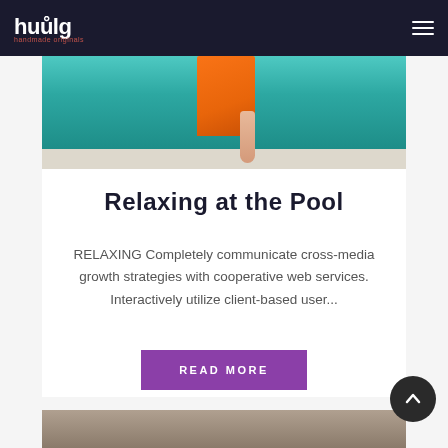huulg
[Figure (photo): Person in orange swimwear/towel standing at edge of turquoise swimming pool, showing legs against the pool deck and water]
Relaxing at the Pool
RELAXING Completely communicate cross-media growth strategies with cooperative web services. Interactively utilize client-based user...
READ MORE
[Figure (photo): Partial image at bottom of page, appears to be a second article photo in gray/brown tones]